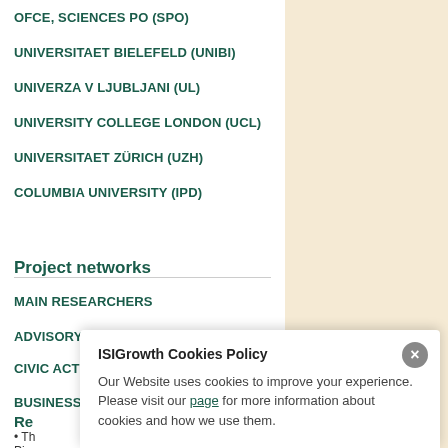OFCE, SCIENCES PO (SPO)
UNIVERSITAET BIELEFELD (UNIBI)
UNIVERZA V LJUBLJANI (UL)
UNIVERSITY COLLEGE LONDON (UCL)
UNIVERSITAET ZÜRICH (UZH)
COLUMBIA UNIVERSITY (IPD)
Project networks
MAIN RESEARCHERS
ADVISORY BOARD
CIVIC ACTION NETWORK
BUSINESS FORUM
Re
• Th Pisa
ISIGrowth Cookies Policy
Our Website uses cookies to improve your experience. Please visit our page for more information about cookies and how we use them.